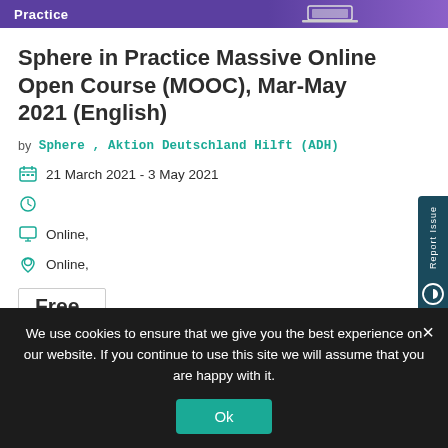Practice
Sphere in Practice Massive Online Open Course (MOOC), Mar-May 2021 (English)
by Sphere , Aktion Deutschland Hilft (ADH)
21 March 2021 - 3 May 2021
Online,
Online,
Free
We use cookies to ensure that we give you the best experience on our website. If you continue to use this site we will assume that you are happy with it.